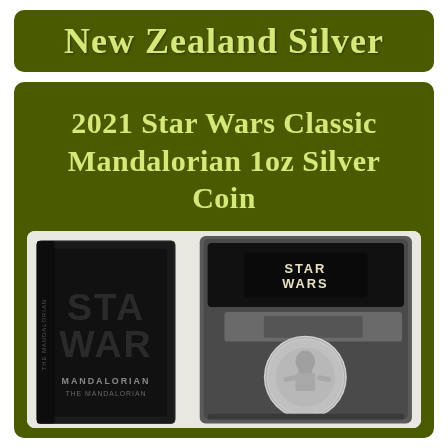New Zealand Silver
2021 Star Wars Classic Mandalorian 1oz Silver Coin
[Figure (photo): Product photo showing the 2021 Star Wars Classic Mandalorian 1oz Silver Coin in its black Star Wars branded box and presentation case. The box features 'MANDALORIAN THE MANDALORIAN' text and Star Wars logo. The open presentation case shows a silver coin with The Mandalorian design and the Star Wars logo above it.]